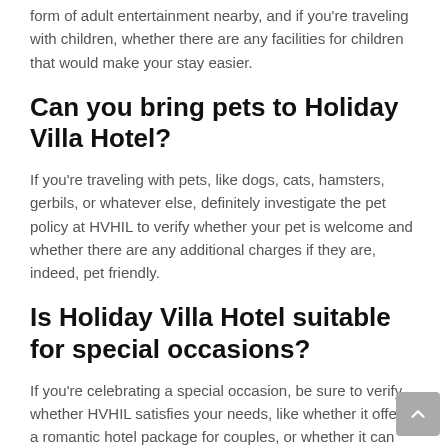form of adult entertainment nearby, and if you're traveling with children, whether there are any facilities for children that would make your stay easier.
Can you bring pets to Holiday Villa Hotel?
If you're traveling with pets, like dogs, cats, hamsters, gerbils, or whatever else, definitely investigate the pet policy at HVHIL to verify whether your pet is welcome and whether there are any additional charges if they are, indeed, pet friendly.
Is Holiday Villa Hotel suitable for special occasions?
If you're celebrating a special occasion, be sure to verify whether HVHIL satisfies your needs, like whether it offers a romantic hotel package for couples, or whether it can accommodate group bookings if you're traveling with a lot of people.